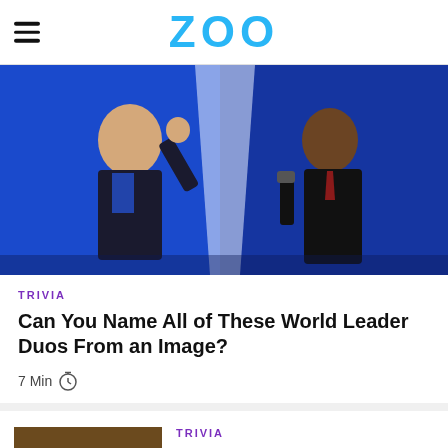ZOO
[Figure (photo): Two men in suits on a stage with blue lighting backdrop — one waving, one holding a microphone]
TRIVIA
Can You Name All of These World Leader Duos From an Image?
7 Min
[Figure (photo): Historical painting showing a crowd of figures in medieval/Renaissance clothing]
TRIVIA
The Thirty Years' War Quiz